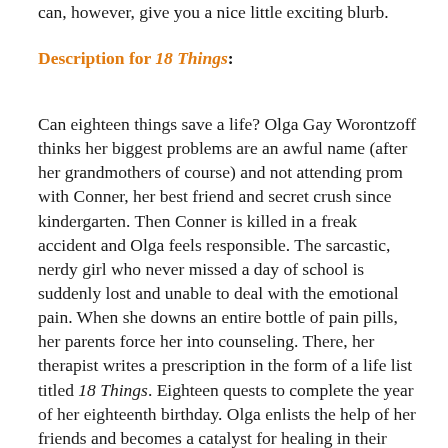can, however, give you a nice little exciting blurb.
Description for 18 Things:
Can eighteen things save a life? Olga Gay Worontzoff thinks her biggest problems are an awful name (after her grandmothers of course) and not attending prom with Conner, her best friend and secret crush since kindergarten. Then Conner is killed in a freak accident and Olga feels responsible. The sarcastic, nerdy girl who never missed a day of school is suddenly lost and unable to deal with the emotional pain. When she downs an entire bottle of pain pills, her parents force her into counseling. There, her therapist writes a prescription in the form of a life list titled 18 Things. Eighteen quests to complete the year of her eighteenth birthday. Olga enlists the help of her friends and becomes a catalyst for healing in their own lives as they eagerly offer suggestions. Alls she has to do is fire-walk, try out for the cheerleading squad, break a world